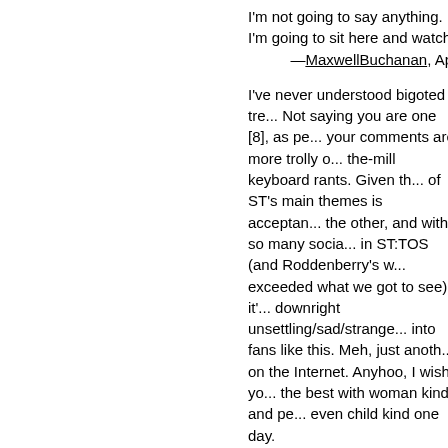I'm not going to say anything. I'm going to sit here and watch.
—MaxwellBuchanan, Apr
I've never understood bigoted tre... Not saying you are one [8], as pe... your comments are more trolly o... the-mill keyboard rants. Given th... of ST's main themes is acceptan... the other, and with so many socia... in ST:TOS (and Roddenberry's w... exceeded what we got to see), it'... downright unsettling/sad/strange... into fans like this. Meh, just anoth... on the Internet. Anyhoo, I wish yo... the best with woman kind and pe... even child kind one day.
—the porpoise, Apr
// trolly or run-of-the-mill keyboar... //
... or maybe some days it's fun ju... shake the tree and see what falls... is definitely on to something ther...
—8th of 7, Apr